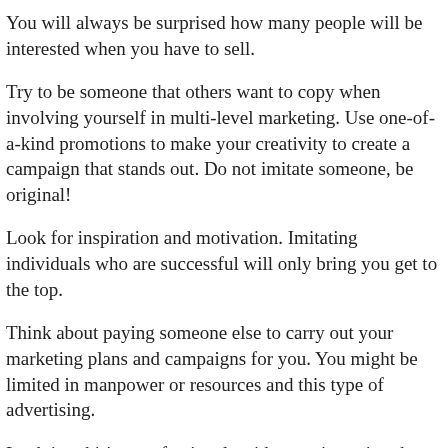You will always be surprised how many people will be interested when you have to sell.
Try to be someone that others want to copy when involving yourself in multi-level marketing. Use one-of-a-kind promotions to make your creativity to create a campaign that stands out. Do not imitate someone, be original!
Look for inspiration and motivation. Imitating individuals who are successful will only bring you get to the top.
Think about paying someone else to carry out your marketing plans and campaigns for you. You might be limited in manpower or resources and this type of advertising.
Look into hiring professionals with experience in other business owners and having them join your network. Business